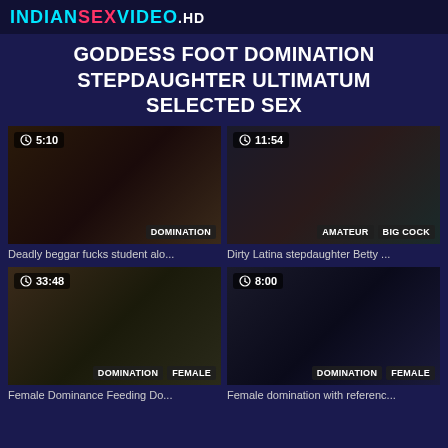INDIANSEXVIDEO.HD
GODDESS FOOT DOMINATION STEPDAUGHTER ULTIMATUM SELECTED SEX
[Figure (screenshot): Video thumbnail 1 with duration 5:10 and tag DOMINATION]
Deadly beggar fucks student alo...
[Figure (screenshot): Video thumbnail 2 with duration 11:54 and tags AMATEUR, BIG COCK]
Dirty Latina stepdaughter Betty ...
[Figure (screenshot): Video thumbnail 3 with duration 33:48 and tags DOMINATION, FEMALE]
Female Dominance Feeding Do...
[Figure (screenshot): Video thumbnail 4 with duration 8:00 and tags DOMINATION, FEMALE]
Female domination with referenc...